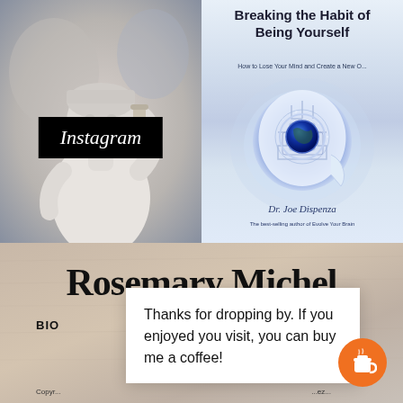[Figure (photo): Greek/Roman marble statue holding a scroll, against blurred beige/grey background with Instagram label overlay in black box]
[Figure (illustration): Book cover: 'Breaking the Habit of Being Yourself - How to Lose Your Mind and Create a New One' by Dr. Joe Dispenza, featuring a glowing human head silhouette with galaxy/cosmos imagery]
[Figure (screenshot): Website screenshot showing 'Rosemary Michel' header with navigation: BIO, RT, MIRA, and copyright footer text]
Thanks for dropping by. If you enjoyed you visit, you can buy me a coffee!